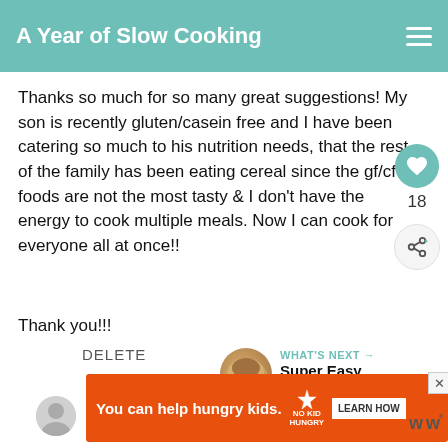A Year of Slow Cooking
Thanks so much for so many great suggestions! My son is recently gluten/casein free and I have been catering so much to his nutrition needs, that the rest of the family has been eating cereal since the gf/cf foods are not the most tasty & I don't have the energy to cook multiple meals. Now I can cook for everyone all at once!!
Thank you!!!
DELETE
WHAT'S NEXT → Super Easy CrockPot...
You can help hungry kids. NO KID HUNGRY LEARN HOW